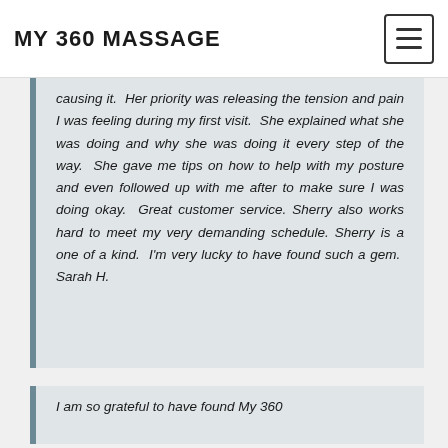MY 360 MASSAGE
causing it.  Her priority was releasing the tension and pain I was feeling during my first visit.  She explained what she was doing and why she was doing it every step of the way.  She gave me tips on how to help with my posture and even followed up with me after to make sure I was doing okay.  Great customer service. Sherry also works hard to meet my very demanding schedule. Sherry is a one of a kind.  I'm very lucky to have found such a gem.  Sarah H.
I am so grateful to have found My 360